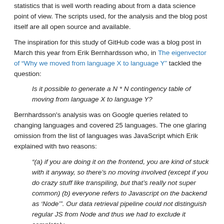statistics that is well worth reading about from a data science point of view. The scripts used, for the analysis and the blog post itself are all open source and available.
The inspiration for this study of GitHub code was a blog post in March this year from Erik Bernhardsson who, in The eigenvector of "Why we moved from language X to language Y" tackled the question:
Is it possible to generate a N * N contingency table of moving from language X to language Y?
Bernhardsson's analysis was on Google queries related to changing languages and covered 25 languages. The one glaring omission from the list of languages was JavaScript which Erik explained with two reasons:
"(a) if you are doing it on the frontend, you are kind of stuck with it anyway, so there's no moving involved (except if you do crazy stuff like transpiling, but that's really not super common) (b) everyone refers to Javascript on the backend as 'Node'". Our data retrieval pipeline could not distinguish regular JS from Node and thus we had to exclude it completely.
Whereas Bernhardsson's analysis reflected hypothetical language migration and included those who were considering or investigating making a switch, Long's, which is based on GitHub source code